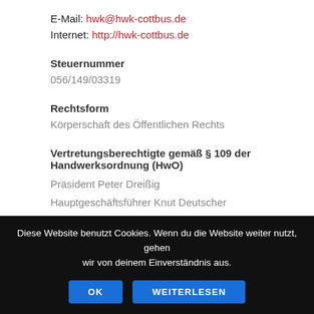E-Mail: hwk@hwk-cottbus.de
Internet: http://hwk-cottbus.de
Steuernummer
056/149/03319
Rechtsform
Körperschaft des Öffentlichen Rechts
Vertretungsberechtigte gemäß § 109 der Handwerksordnung (HwO)
Präsident Peter Dreißig
Hauptgeschäftsführer Knut Deutscher
(Anschrift wie oben)
Diese Website benutzt Cookies. Wenn du die Website weiter nutzt, gehen wir von deinem Einverständnis aus. OK WEITERLESEN